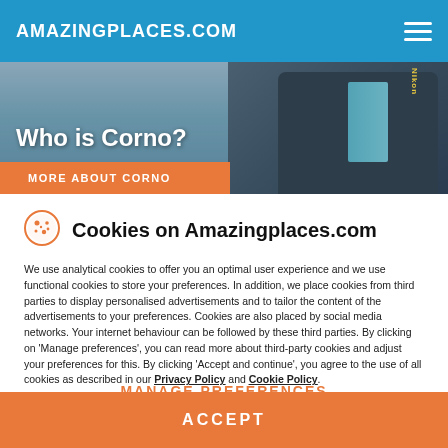AMAZINGPLACES.COM
[Figure (photo): Hero image of a person wearing a dark puffer jacket with Nikon camera strap, overlaid with the heading 'Who is Corno?' and an orange button reading 'MORE ABOUT CORNO']
Cookies on Amazingplaces.com
We use analytical cookies to offer you an optimal user experience and we use functional cookies to store your preferences. In addition, we place cookies from third parties to display personalised advertisements and to tailor the content of the advertisements to your preferences. Cookies are also placed by social media networks. Your internet behaviour can be followed by these third parties. By clicking on 'Manage preferences', you can read more about third-party cookies and adjust your preferences for this. By clicking 'Accept and continue', you agree to the use of all cookies as described in our Privacy Policy and Cookie Policy.
MANAGE PREFERENCES
ACCEPT